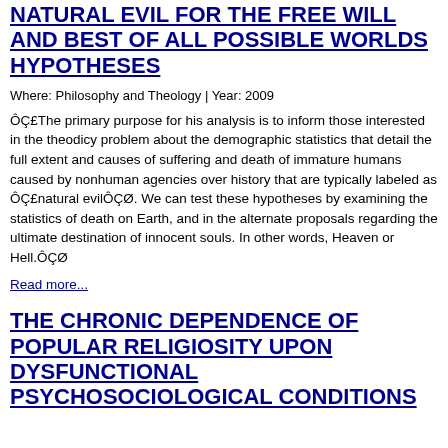NATURAL EVIL FOR THE FREE WILL AND BEST OF ALL POSSIBLE WORLDS HYPOTHESES
Where: Philosophy and Theology | Year: 2009
ÔÇ£The primary purpose for his analysis is to inform those interested in the theodicy problem about the demographic statistics that detail the full extent and causes of suffering and death of immature humans caused by nonhuman agencies over history that are typically labeled as ÔÇ£natural evilÔÇØ. We can test these hypotheses by examining the statistics of death on Earth, and in the alternate proposals regarding the ultimate destination of innocent souls. In other words, Heaven or Hell.ÔÇØ
Read more...
THE CHRONIC DEPENDENCE OF POPULAR RELIGIOSITY UPON DYSFUNCTIONAL PSYCHOSOCIOLOGICAL CONDITIONS